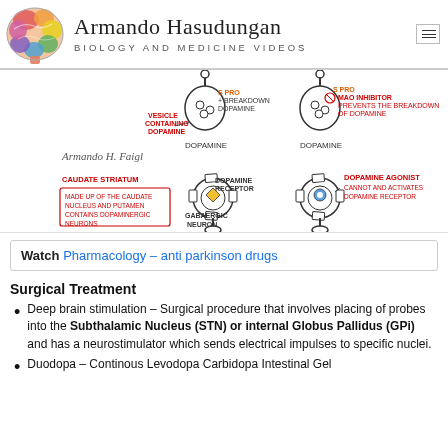Armando Hasudungan — Biology and Medicine Videos
[Figure (illustration): Hand-drawn medical diagram showing dopamine neurotransmission with synaptic vesicles, dopamine receptors, caudate striatum neuron, MAO inhibition, and dopamine agonist labels. Annotated by Armando H. Faigl.]
Watch Pharmacology – anti parkinson drugs
Surgical Treatment
Deep brain stimulation – Surgical procedure that involves placing of probes into the Subthalamic Nucleus (STN) or internal Globus Pallidus (GPi) and has a neurostimulator which sends electrical impulses to specific nuclei.
Duodopa – Continous Levodopa Carbidopa Intestinal Gel